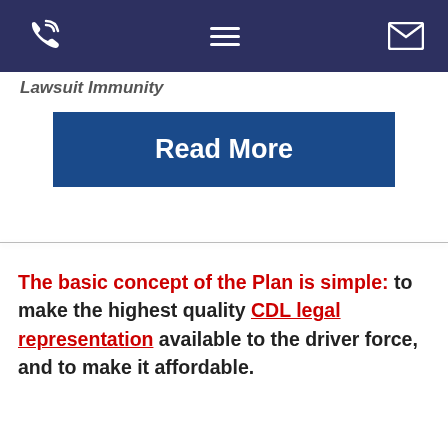[navigation bar with phone, menu, and email icons]
Lawsuit Immunity
Read More
The basic concept of the Plan is simple: to make the highest quality CDL legal representation available to the driver force, and to make it affordable.